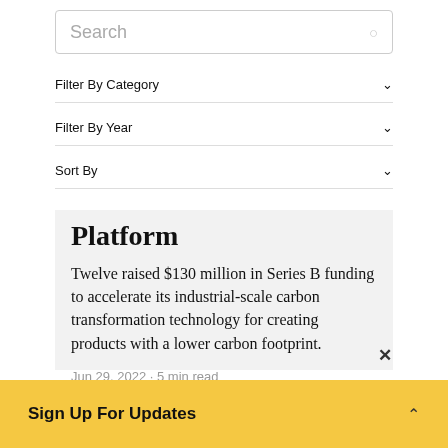Search
Filter By Category
Filter By Year
Sort By
Platform
Twelve raised $130 million in Series B funding to accelerate its industrial-scale carbon transformation technology for creating products with a lower carbon footprint.
Jun 29, 2022 · 5 min read
Climate, Ventures
Sign Up For Updates